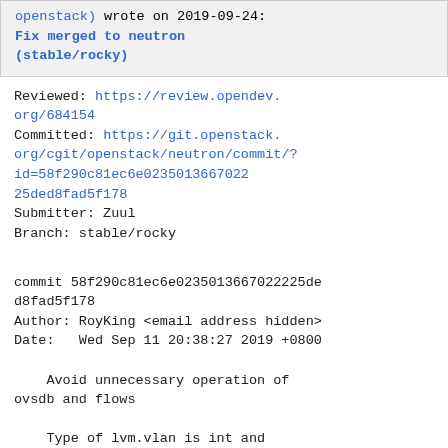openstack) wrote on 2019-09-24:
Fix merged to neutron (stable/rocky)
Reviewed: https://review.opendev.org/684154
Committed: https://git.openstack.org/cgit/openstack/neutron/commit/?id=58f290c81ec6e0235013667022225ded8fad5f178
Submitter: Zuul
Branch: stable/rocky

commit 58f290c81ec6e0235013667022225ded8fad5f178
Author: RoyKing <email address hidden>
Date:   Wed Sep 11 20:38:27 2019 +0800

    Avoid unnecessary operation of ovsdb and flows

    Type of lvm.vlan is int and other_config.get('tag') is a string,
    they can never be equal. We should do type conversion before
    comparing to avoid unnecessary
    operation of ovsdb and flows